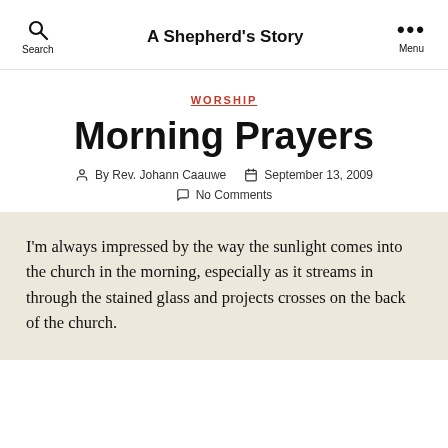A Shepherd's Story
WORSHIP
Morning Prayers
By Rev. Johann Caauwe   September 13, 2009   No Comments
I'm always impressed by the way the sunlight comes into the church in the morning, especially as it streams in through the stained glass and projects crosses on the back of the church.